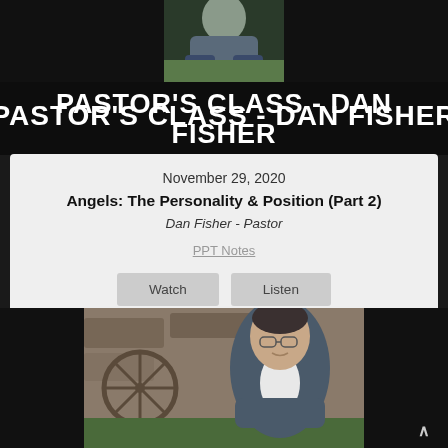[Figure (photo): Top banner with dark background showing a person seated with arms crossed, wearing a suit and watch, with outdoor background. Large text overlay reads PASTOR'S CLASS - DAN FISHER]
PASTOR'S CLASS - DAN FISHER
November 29, 2020
Angels: The Personality & Position (Part 2)
Dan Fisher - Pastor
PPT Notes
Watch
Listen
[Figure (photo): Portrait photo of Dan Fisher, a middle-aged man wearing glasses and a blue blazer with white shirt, seated outdoors with stone wall and wagon wheel in background]